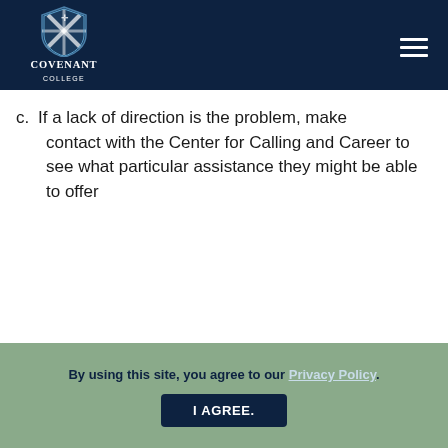[Figure (logo): Covenant College logo with shield icon and text]
c. If a lack of direction is the problem, make contact with the Center for Calling and Career to see what particular assistance they might be able to offer
By using this site, you agree to our Privacy Policy.
I AGREE.